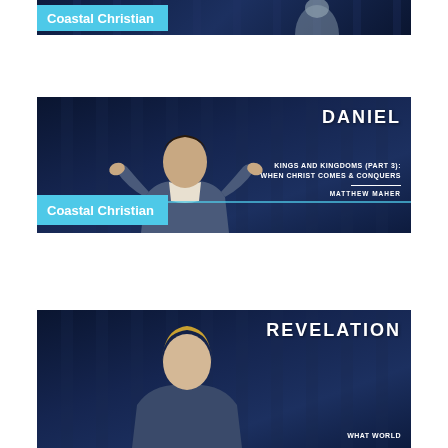[Figure (screenshot): Partial top card showing 'Coastal Christian' label and a person silhouette — bottom portion of a video thumbnail cut off at top of page]
[Figure (screenshot): Video thumbnail for a Daniel sermon series: 'Kings and Kingdoms (Part 3): When Christ Comes & Conquers' by Matthew Maher, with Coastal Christian branding. Speaker in blue blazer gesturing on dark stage.]
[Figure (screenshot): Partial bottom card showing 'Revelation' series video thumbnail and the beginning of text 'WHAT WORLD' — a speaker visible from waist up on dark stage.]